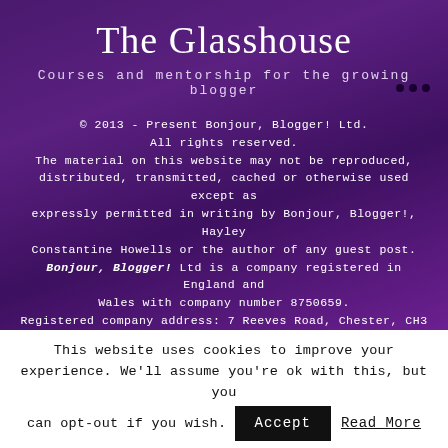The Glasshouse
Courses and mentorship for the growing blogger
© 2013 - Present Bonjour, Blogger! Ltd.
All rights reserved.
The material on this website may not be reproduced, distributed, transmitted, cached or otherwise used except as expressly permitted in writing by Bonjour, Blogger!, Hayley Constantine Howells or the author of any guest post.
Bonjour, Blogger! Ltd is a company registered in England and Wales with company number 8750659.
Registered company address: 7 Reeves Road, Chester, CH3 5RT.
This website uses cookies to improve your experience. We'll assume you're ok with this, but you can opt-out if you wish.
Accept
Read More